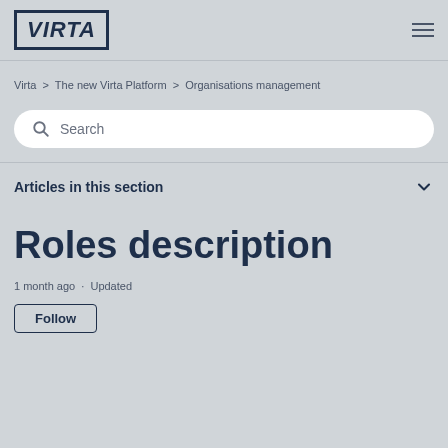VIRTA
Virta > The new Virta Platform > Organisations management
[Figure (screenshot): Search bar with magnifying glass icon and placeholder text 'Search']
Articles in this section
Roles description
1 month ago · Updated
Follow